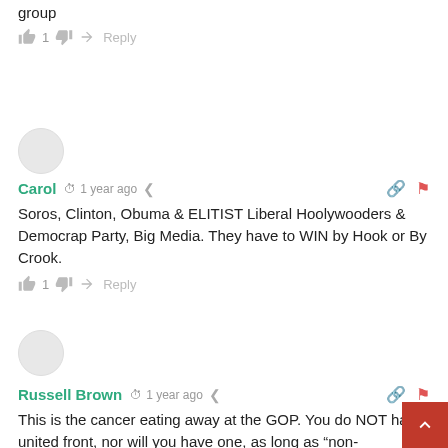group
👍 1 👎 ➜ Reply
Carol · 1 year ago
Soros, Clinton, Obuma & ELITIST Liberal Hoolywooders & Democrap Party, Big Media. They have to WIN by Hook or By Crook.
👍 1 👎 ➜ Reply
Russell Brown · 1 year ago
This is the cancer eating away at the GOP. You do NOT have united front, nor will you have one, as long as "non-conservatives" are receiving large donations from mysterious